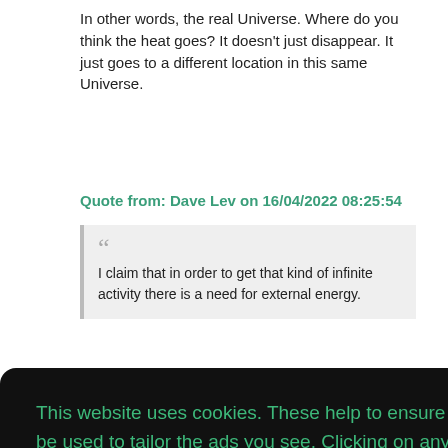In other words, the real Universe. Where do you think the heat goes? It doesn't just disappear. It just goes to a different location in this same Universe.
Quote from: Dave Lev on 16/04/2022 08:25:54
I claim that in order to get that kind of infinite activity there is a need for external energy.
This website uses cookies. These help to ensure that our website works properly and may also be used to tailor the ads you see. Clicking on any link within this page, and continuing to use our website, indicates that you understand and agree to this.  Learn more
Got it!
Theory D thread being closed